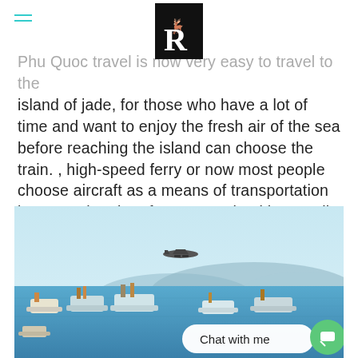R (logo)
Phu Quoc travel is now very easy to travel to the island of jade, for those who have a lot of time and want to enjoy the fresh air of the sea before reaching the island can choose the train. , high-speed ferry or now most people choose aircraft as a means of transportation because the aircraft to ensure health as well as shorten the distance to your Phu Quoc
[Figure (photo): A scenic coastal view showing fishing boats on blue water, hills in the background, a light blue sky, and an aircraft flying low overhead approaching Phu Quoc island. A chat widget with 'Chat with me' bubble and green icon is overlaid at the bottom right.]